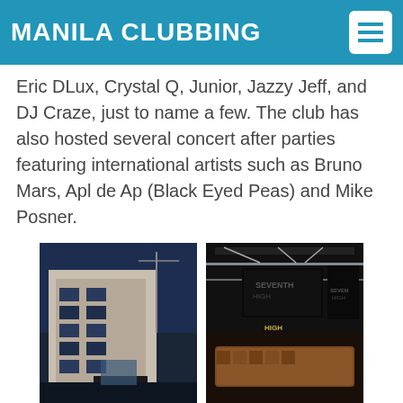MANILA CLUBBING
Eric DLux, Crystal Q, Junior, Jazzy Jeff, and DJ Craze, just to name a few. The club has also hosted several concert after parties featuring international artists such as Bruno Mars, Apl de Ap (Black Eyed Peas) and Mike Posner.
[Figure (photo): Exterior night shot of Seventh High club building]
[Figure (photo): Interior shot showing Seventh High club signage and bar area]
[Figure (photo): Interior lounge/VIP booth area of Seventh High club]